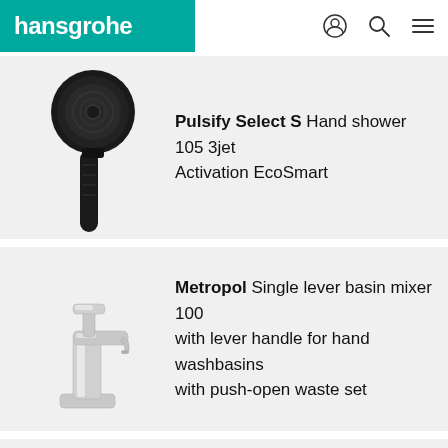hansgrohe
Pulsify Select S Hand shower 105 3jet Activation EcoSmart
Metropol Single lever basin mixer 100 with lever handle for hand washbasins with push-open waste set
Raindance Select S Hand shower 120 3jet EcoSmart 9 l/min